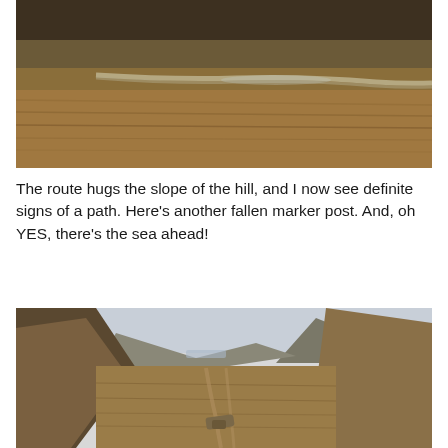[Figure (photo): Landscape photo of a moorland/boggy hillside with a path or stream visible curving through brown grass, and a dark hillside in the background.]
The route hugs the slope of the hill, and I now see definite signs of a path. Here’s another fallen marker post. And, oh YES, there’s the sea ahead!
[Figure (photo): Landscape photo showing a valley between two grassy hills with mountains in the background and a pale sky. A fallen marker post or rock is visible in the foreground on the path.]